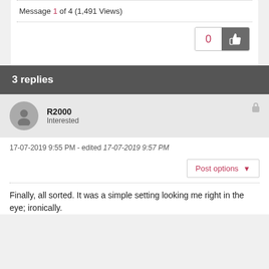Message 1 of 4 (1,491 Views)
0
3 replies
R2000
Interested
17-07-2019 9:55 PM - edited 17-07-2019 9:57 PM
Post options
Finally, all sorted. It was a simple setting looking me right in the eye; ironically.